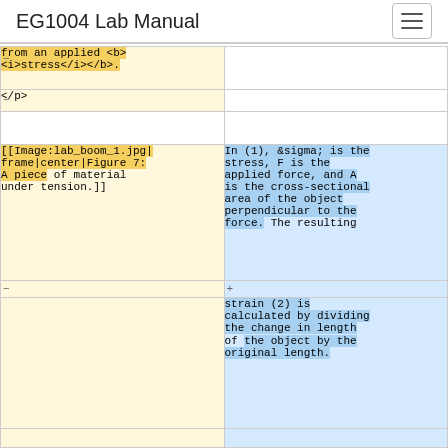EG1004 Lab Manual
from an applied <b><i>stress</i></b>.
</p>
[[Image:lab_boom_1.jpg|frame|center|Figure 7: A piece of material under tension.]]
In (1), &sigma; is the stress, F is the applied force, and A is the cross-sectional area of the object perpendicular to the force. The resulting strain (2) is calculated by dividing the change in length of the object by the original length.